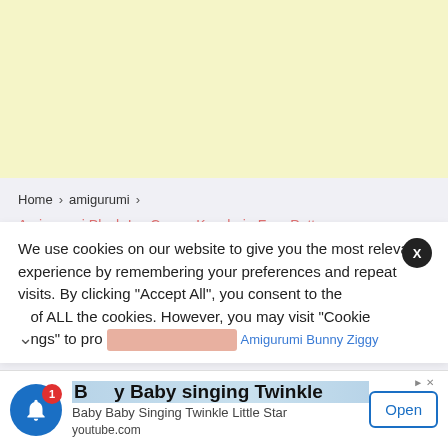[Figure (other): Yellow/cream colored advertisement banner placeholder]
Home > amigurumi >
Amigurumi Plush Ice Cream Keychain Free Pattern
We use cookies on our website to give you the most relevant experience by remembering your preferences and repeat visits. By clicking "Accept All", you consent to the use of ALL the cookies. However, you may visit "Cookie Settings" to provide a controlled consent.
Amigurumi Bunny Ziggy
Baby Baby singing Twinkle
Baby Baby Singing Twinkle Little Star
youtube.com